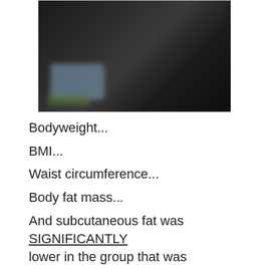[Figure (photo): Close-up photo of a person in dark clothing, with a blurred phone and wooden surface visible in the lower left corner.]
Bodyweight...
BMI...
Waist circumference...
Body fat mass...
And subcutaneous fat was SIGNIFICANTLY lower in the group that was consuming